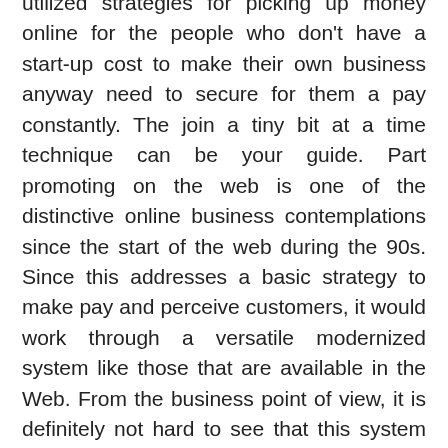utilized strategies for picking up money online for the people who don't have a start-up cost to make their own business anyway need to secure for them a pay constantly. The join a tiny bit at a time technique can be your guide. Part promoting on the web is one of the distinctive online business contemplations since the start of the web during the 90s. Since this addresses a basic strategy to make pay and perceive customers, it would work through a versatile modernized system like those that are available in the Web. From the business point of view, it is definitely not hard to see that this system radiates an impression of being shallow. All things considered, the internal methodology of the branch program require sort of momentous tally.